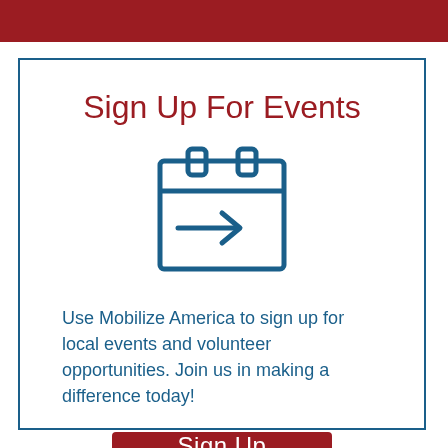[Figure (illustration): Dark red horizontal banner bar at the top of the page]
Sign Up For Events
[Figure (illustration): Calendar icon with an arrow pointing right, in dark blue outline style]
Use Mobilize America to sign up for local events and volunteer opportunities. Join us in making a difference today!
Sign Up